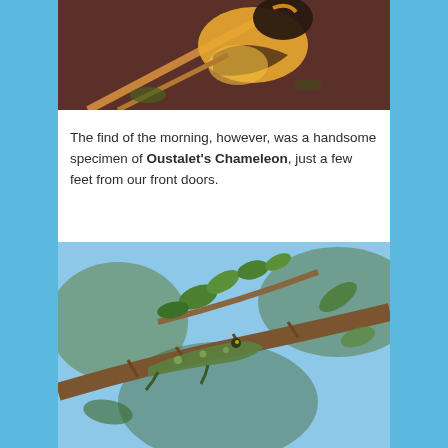[Figure (photo): Close-up photograph of a bird (possibly a kingfisher or similar) perched on a branch, showing orange/yellow plumage, photographed from below against a dark background.]
The find of the morning, however, was a handsome specimen of Oustalet's Chameleon, just a few feet from our front doors.
[Figure (photo): Photograph of an Oustalet's Chameleon clinging to a thorny branch surrounded by green leaves, with a blurred blue sky background.]